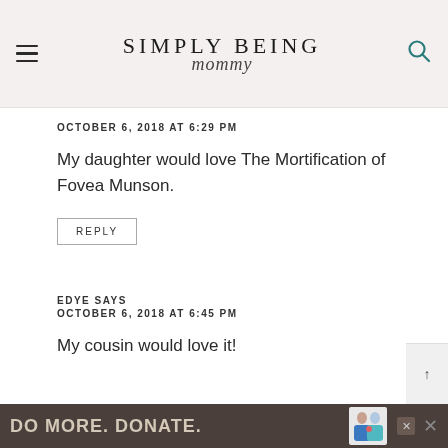SIMPLY BEING mommy
OCTOBER 6, 2018 AT 6:29 PM
My daughter would love The Mortification of Fovea Munson.
REPLY
EDYE SAYS
OCTOBER 6, 2018 AT 6:45 PM
My cousin would love it!
[Figure (infographic): Advertisement banner: DO MORE. DONATE. with illustrated figures of two people and a close button]
DO MORE. DONATE.